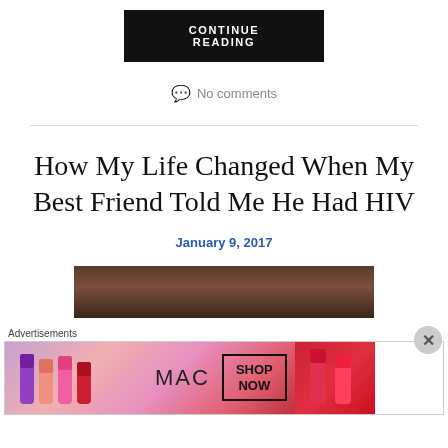CONTINUE READING
No comments
How My Life Changed When My Best Friend Told Me He Had HIV
January 9, 2017
[Figure (photo): Article header image, dark brown tones]
Advertisements
[Figure (other): MAC cosmetics advertisement banner with lipsticks and SHOP NOW button]